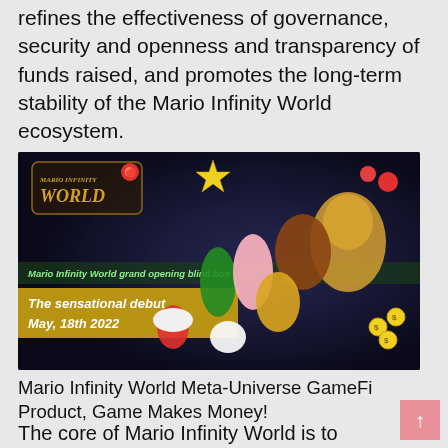refines the effectiveness of governance, security and openness and transparency of funds raised, and promotes the long-term stability of the Mario Infinity World ecosystem.
[Figure (illustration): Mario Infinity World promotional banner with game characters (Mario, Luigi, Peach, Toad, Bowser, Donkey Kong, Wario, Boo, and others) on a dark background. Text overlay reads 'Mario Infinity World grand opening blind box' and 'The sensational debut May, 18th 2022'.]
Mario Infinity World Meta-Universe GameFi Product, Game Makes Money!
The core of Mario Infinity World is to create a game autonomous community, a foundation plus a decentralized distributed community